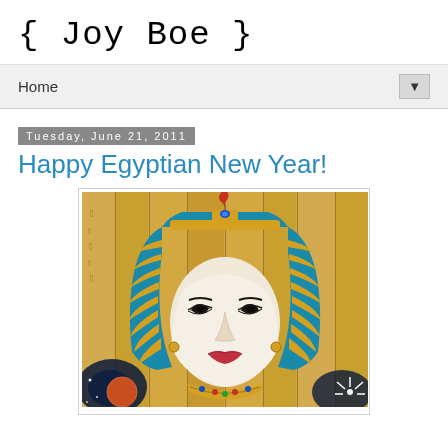{ Joy Boe }
Home
Tuesday, June 21, 2011
Happy Egyptian New Year!
[Figure (illustration): Digital illustration of a woman dressed as an Egyptian pharaoh/queen with a blue and gold striped headdress (nemes), wearing a golden crown with a cobra, set against a background of golden hieroglyphic-covered stone pillars. The background also shows a cosmic/space scene with a planet and stars at the bottom corners.]